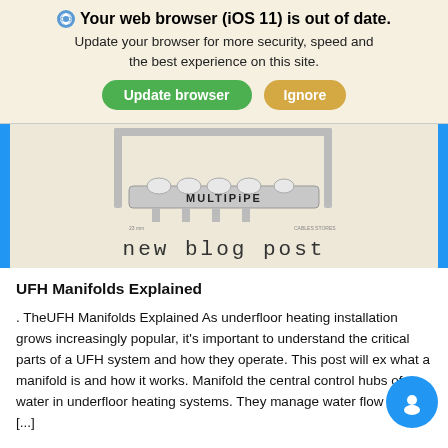🌐 Your web browser (iOS 11) is out of date. Update your browser for more security, speed and the best experience on this site.
[Figure (screenshot): Browser update banner with two buttons: 'Update browser' (green) and 'Ignore' (tan/gold)]
[Figure (photo): Photo of a MULTIPIPE UFH manifold — a metal bar with multiple white-capped ports on top, branded 'MULTIPIPE']
new blog post
UFH Manifolds Explained
. TheUFH Manifolds Explained As underfloor heating installation grows increasingly popular, it's important to understand the critical parts of a UFH system and how they operate. This post will ex what a manifold is and how it works. Manifold the central control hubs of water in underfloor heating systems. They manage water flow rates [...]